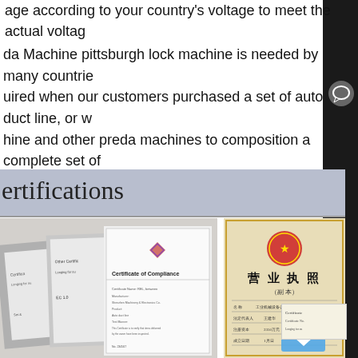age according to your country's voltage to meet the actual voltage
da Machine pittsburgh lock machine is needed by many countries, required when our customers purchased a set of auto duct line, or w machine and other preda machines to composition a complete set of da Machine round lock machine will be a great choose when you HVAC duct manufacturing!!
ertifications
[Figure (photo): Multiple certificates including Certificate of Compliance and other certification documents arranged overlapping each other]
[Figure (photo): Chinese business license (营业执照) document with red national emblem seal and a Certificate document partially visible]